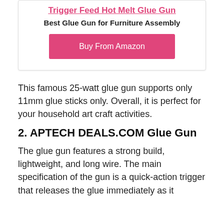Trigger Feed Hot Melt Glue Gun
Best Glue Gun for Furniture Assembly
Buy From Amazon
This famous 25-watt glue gun supports only 11mm glue sticks only. Overall, it is perfect for your household art craft activities.
2. APTECH DEALS.COM Glue Gun
The glue gun features a strong build, lightweight, and long wire. The main specification of the gun is a quick-action trigger that releases the glue immediately as it